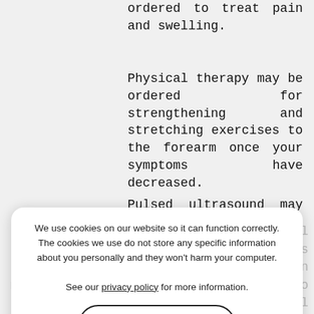ordered to treat pain and swelling.
Physical therapy may be ordered for strengthening and stretching exercises to the forearm once your symptoms have decreased.
Pulsed ultrasound may be utilized to increase blood flow and promote healing to the injured tendons.
If conservative treatment options fail to resolve the condition and symptoms persist for 6 -12 months, your surgeon may recommend a surgical procedure to treat tennis elbow called lateral epicondyle release surgery. Your
We use cookies on our website so it can function correctly. The cookies we use do not store any specific information about you personally and they won't harm your computer.

See our privacy policy for more information.
Accept